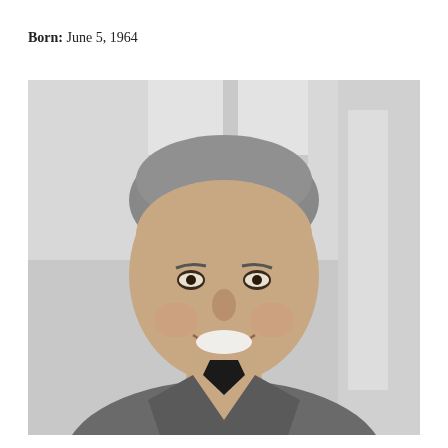Born: June 5, 1964
[Figure (photo): Portrait photo of a middle-aged man with short gray hair, smiling, wearing a dark collared shirt under a gray blazer, with a light gray/white background]